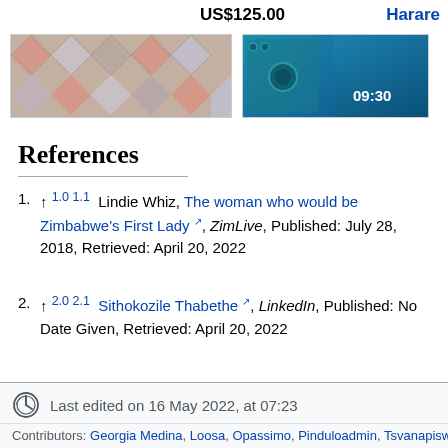US$125.00
Harare
[Figure (photo): Colorful geometric diamond-pattern tiles in pink, grey and white]
[Figure (photo): Green smartphone showing time 09:30 against a blue background]
References
1. ↑ 1.0 1.1 Lindie Whiz, The woman who would be Zimbabwe's First Lady, ZimLive, Published: July 28, 2018, Retrieved: April 20, 2022
2. ↑ 2.0 2.1 Sithokozile Thabethe, LinkedIn, Published: No Date Given, Retrieved: April 20, 2022
Last edited on 16 May 2022, at 07:23
Contributors: Georgia Medina, Loosa, Opassimo, Pinduloadmin, Tsvanapiswo